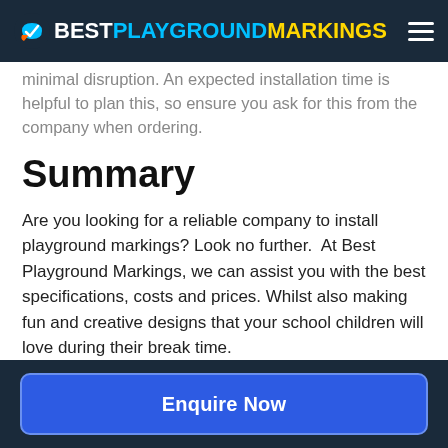BEST PLAYGROUND MARKINGS
minimal disruption. An expected installation time is helpful to plan this, so ensure you ask for this from the company when ordering.
Summary
Are you looking for a reliable company to install playground markings? Look no further.  At Best Playground Markings, we can assist you with the best specifications, costs and prices. Whilst also making fun and creative designs that your school children will love during their break time.
Enquire Now